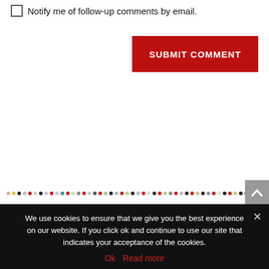Notify me of follow-up comments by email.
[Figure (other): Red SUBMIT COMMENT button]
[Figure (other): Row of small colored dots decorative divider]
[Figure (other): Grey scroll-to-top arrow button]
We use cookies to ensure that we give you the best experience on our website. If you click ok and continue to use our site that indicates your acceptance of the cookies.
Ok   Read more